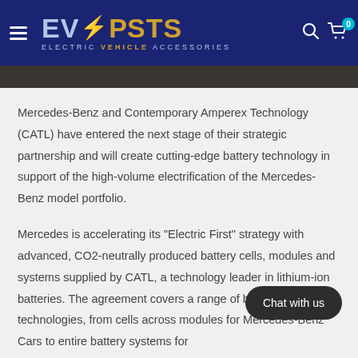EVPOSTS ELECTRIC VEHICLE ACCESSORIES
[Figure (photo): Dark image strip, partial photo visible below navigation header]
Mercedes-Benz and Contemporary Amperex Technology (CATL) have entered the next stage of their strategic partnership and will create cutting-edge battery technology in support of the high-volume electrification of the Mercedes-Benz model portfolio.
Mercedes is accelerating its “Electric First” strategy with advanced, CO2-neutrally produced battery cells, modules and systems supplied by CATL, a technology leader in lithium-ion batteries. The agreement covers a range of battery technologies, from cells across modules for Mercedes-Benz Cars to entire battery systems for